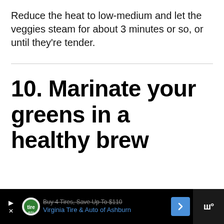Reduce the heat to low-medium and let the veggies steam for about 3 minutes or so, or until they're tender.
10. Marinate your greens in a healthy brew
[Figure (other): Advertisement banner at bottom: Buy 4 Tires, Save Up To $110 - Virginia Tire & Auto of Ashburn]